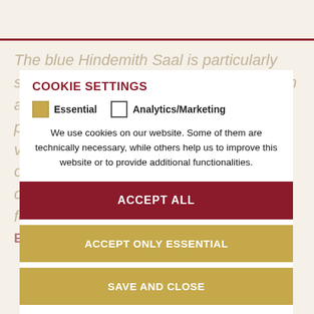The blue Hindemith Saal is particularly suitable for more intimate occasions such as family celebrations, presentations, or private dinners. It is also the perfect venue for smaller exhibitions, trade fairs or concerts. Its understated elegance creates a distinguished setting for festivities and business event more ...
COOKIE SETTINGS
Essential   Analytics/Marketing
We use cookies on our website. Some of them are technically necessary, while others help us to improve this website or to provide additional functionalities.
ACCEPT ALL
ACCEPT ONLY ESSENTIAL
SAVE AND CLOSE
Get more info about used cookies